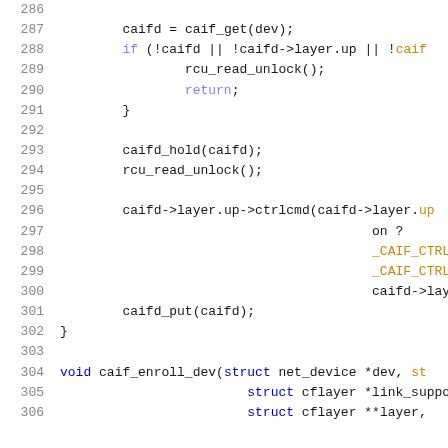[Figure (screenshot): Source code listing in C showing lines 286-306 of a Linux kernel CAIF networking driver. Lines include variable assignment, conditional checks, function calls like caif_get, caifd_hold, rcu_read_unlock, ctrlcmd, caifd_put, and a function definition caif_enroll_dev.]